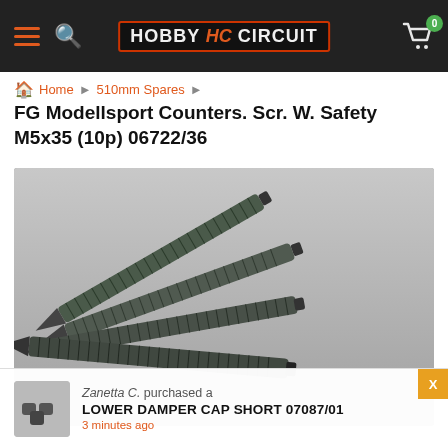Hobby HC Circuit — navigation header with hamburger menu, search, logo, and cart (0 items)
Home ▸ 510mm Spares ▸
FG Modellsport Counters. Scr. W. Safety M5x35 (10p) 06722/36
[Figure (photo): Photo of multiple dark threaded countersunk screws (M5x35) piled on a grey surface, showing flat/countersunk heads and long threaded shanks]
Zanetta C.  purchased a
LOWER DAMPER CAP SHORT 07087/01
3 minutes ago